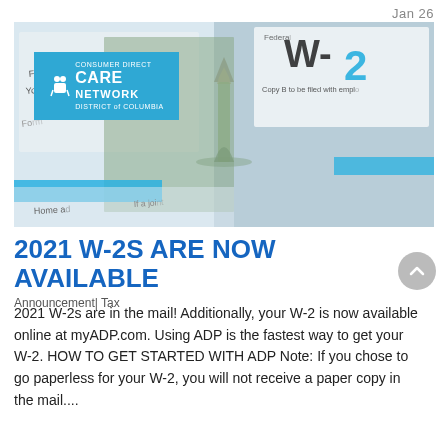Jan  26
[Figure (photo): Hero banner image showing W-2 tax forms and Statue of Liberty with Consumer Direct Care Network District of Columbia logo overlay]
2021 W-2S ARE NOW AVAILABLE
Announcement| Tax
2021 W-2s are in the mail! Additionally, your W-2 is now available online at myADP.com. Using ADP is the fastest way to get your W-2. HOW TO GET STARTED WITH ADP Note: If you chose to go paperless for your W-2, you will not receive a paper copy in the mail....